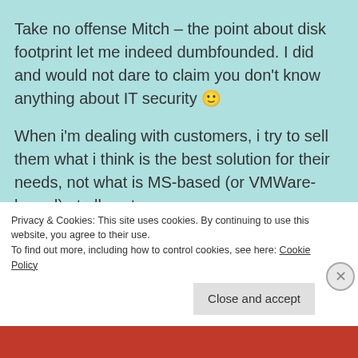Take no offense Mitch – the point about disk footprint let me indeed dumbfounded. I did and would not dare to claim you don't know anything about IT security 🙂
When i'm dealing with customers, i try to sell them what i think is the best solution for their needs, not what is MS-based (or VMWare-based) at all costs.
And yes you do have to convince CxO...
Privacy & Cookies: This site uses cookies. By continuing to use this website, you agree to their use.
To find out more, including how to control cookies, see here: Cookie Policy